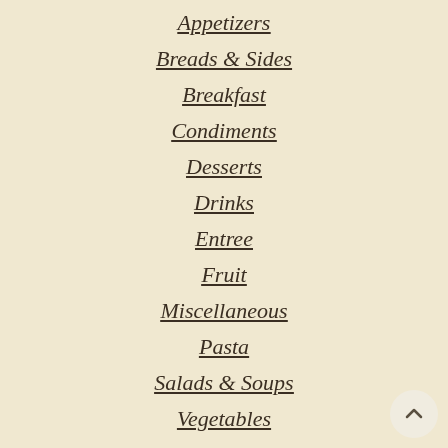Appetizers
Breads & Sides
Breakfast
Condiments
Desserts
Drinks
Entree
Fruit
Miscellaneous
Pasta
Salads & Soups
Vegetables